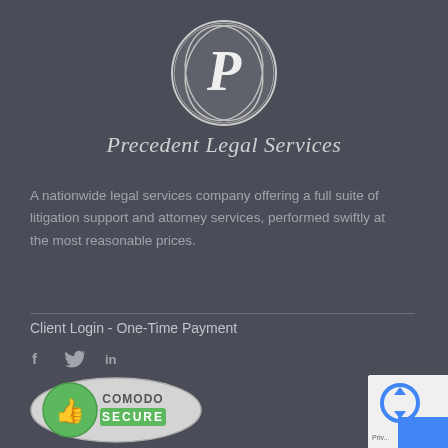[Figure (logo): Precedent Legal Services logo: circular emblem with stylized P in white, above italic company name]
Precedent Legal Services
A nationwide legal services company offering a full suite of litigation support and attorney services, performed swiftly at the most reasonable prices.
Client Login - One-Time Payment
[Figure (other): Social media icons: Facebook (f), Twitter bird, LinkedIn (in)]
[Figure (other): Comodo Secure badge with thumbs up icon and green/grey styling]
[Figure (other): reCAPTCHA badge partially visible in bottom-right corner]